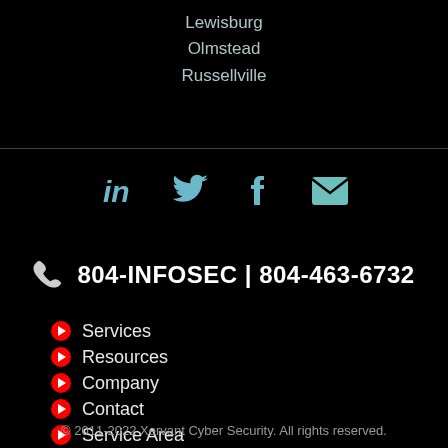Lewisburg
Olmstead
Russellville
[Figure (infographic): Social media icons: LinkedIn, Twitter, Facebook, Email]
804-INFOSEC | 804-463-6732
Services
Resources
Company
Contact
Service Area
Site Map
Privacy Policy
Terms of Use
© 2011-2022 Xervant Cyber Security. All rights reserved.